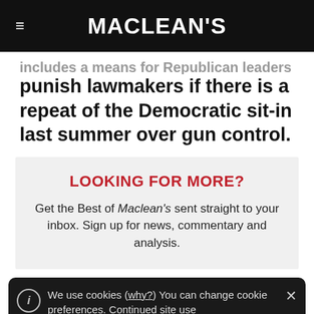MACLEAN'S
includes a means for Republican leaders to punish lawmakers if there is a repeat of the Democratic sit-in last summer over gun control.
LOOKING FOR MORE?
Get the Best of Maclean's sent straight to your inbox. Sign up for news, commentary and analysis.
We use cookies (why?) You can change cookie preferences. Continued site use